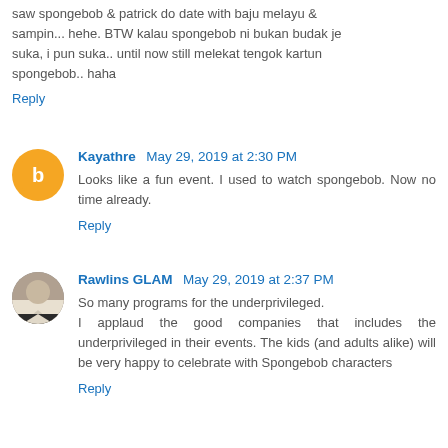saw spongebob & patrick do date with baju melayu & sampin... hehe. BTW kalau spongebob ni bukan budak je suka, i pun suka.. until now still melekat tengok kartun spongebob.. haha
Reply
Kayathre May 29, 2019 at 2:30 PM
Looks like a fun event. I used to watch spongebob. Now no time already.
Reply
Rawlins GLAM May 29, 2019 at 2:37 PM
So many programs for the underprivileged. I applaud the good companies that includes the underprivileged in their events. The kids (and adults alike) will be very happy to celebrate with Spongebob characters
Reply